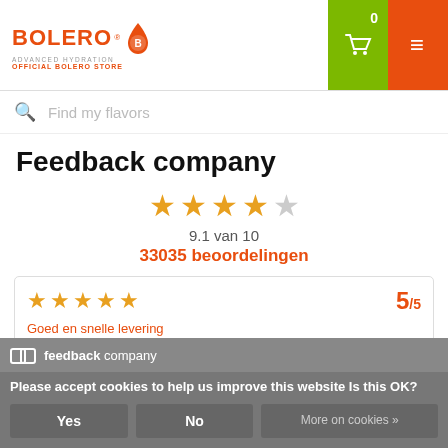[Figure (logo): Bolero Advanced Hydration logo with orange droplet and B circle, Official Bolero Store text]
[Figure (infographic): Green cart icon with 0 badge and orange hamburger menu icon]
Find my flavors
Feedback company
[Figure (infographic): 4.5 out of 5 stars rating display, 9.1 van 10, 33035 beoordelingen]
9.1 van 10
33035 beoordelingen
5/5
Goed en snelle levering
Viviane
MEER...
Please accept cookies to help us improve this website Is this OK?
Yes
No
More on cookies »